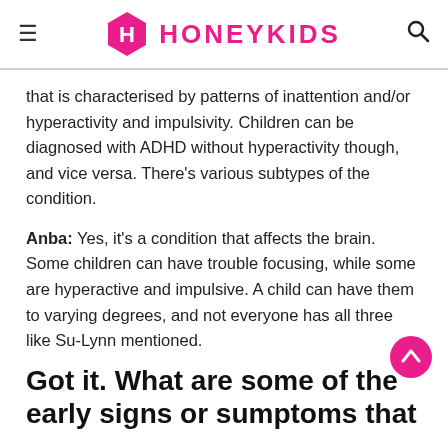HONEYKIDS
that is characterised by patterns of inattention and/or hyperactivity and impulsivity. Children can be diagnosed with ADHD without hyperactivity though, and vice versa. There’s various subtypes of the condition.
Anba: Yes, it’s a condition that affects the brain. Some children can have trouble focusing, while some are hyperactive and impulsive. A child can have them to varying degrees, and not everyone has all three like Su-Lynn mentioned.
Got it. What are some of the early signs or sumptoms that